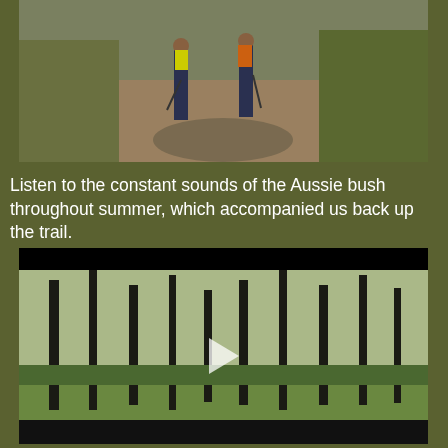[Figure (photo): Two hikers with colorful backpacks (yellow and orange) walking away on a leaf-covered trail through Australian bush]
Listen to the constant sounds of the Aussie bush throughout summer, which accompanied us back up the trail.
[Figure (screenshot): Video player showing Australian bush forest with tall dark eucalyptus trees and green undergrowth, with a play button overlay in the center]